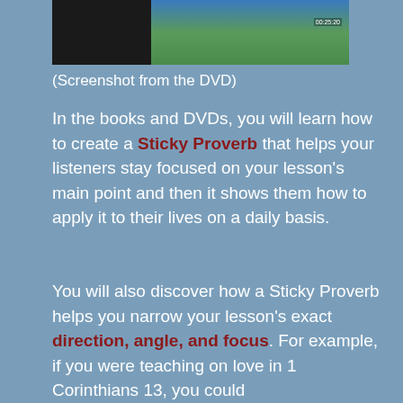[Figure (screenshot): Screenshot from a DVD showing a person on the left and a green/blue screen or background on the right with a timestamp visible]
(Screenshot from the DVD)
In the books and DVDs, you will learn how to create a Sticky Proverb that helps your listeners stay focused on your lesson's main point and then it shows them how to apply it to their lives on a daily basis.
You will also discover how a Sticky Proverb helps you narrow your lesson's exact direction, angle, and focus. For example, if you were teaching on love in 1 Corinthians 13, you could